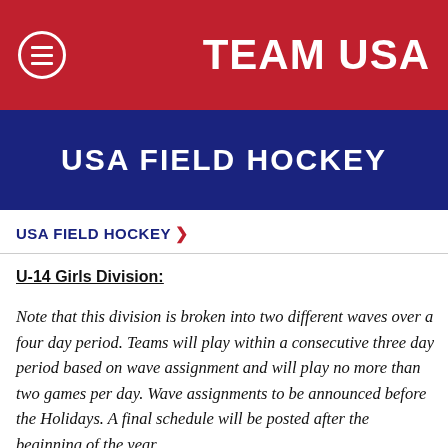TEAM USA
USA FIELD HOCKEY
USA FIELD HOCKEY >
U-14 Girls Division:
Note that this division is broken into two different waves over a four day period. Teams will play within a consecutive three day period based on wave assignment and will play no more than two games per day. Wave assignments to be announced before the Holidays. A final schedule will be posted after the beginning of the year.